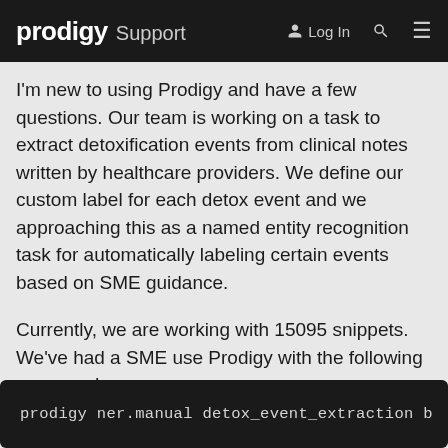prodigy Support | Log In
I'm new to using Prodigy and have a few questions. Our team is working on a task to extract detoxification events from clinical notes written by healthcare providers. We define our custom label for each detox event and we approaching this as a named entity recognition task for automatically labeling certain events based on SME guidance.
Currently, we are working with 15095 snippets. We've had a SME use Prodigy with the following command:
prodigy ner.manual detox_event_extraction b